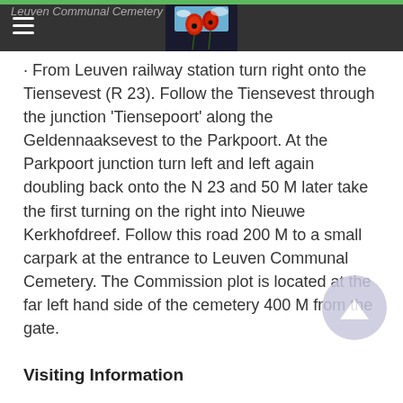Leuven Communal Cemetery
[Figure (photo): Poppy flowers on dark background — website logo/header image]
From Leuven railway station turn right onto the Tiensevest (R 23). Follow the Tiensevest through the junction 'Tiensepoort' along the Geldennaaksevest to the Parkpoort. At the Parkpoort junction turn left and left again doubling back onto the N 23 and 50 M later take the first turning on the right into Nieuwe Kerkhofdreef. Follow this road 200 M to a small carpark at the entrance to Leuven Communal Cemetery. The Commission plot is located at the far left hand side of the cemetery 400 M from the gate.
Visiting Information
Wheelchair Access to the cemetery is possible via the main entrance.
Cemetery opening hours : from Monday to Friday, from